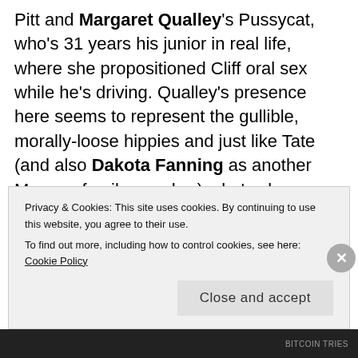Pitt and Margaret Qualley's Pussycat, who's 31 years his junior in real life, where she propositioned Cliff oral sex while he's driving. Qualley's presence here seems to represent the gullible, morally-loose hippies and just like Tate (and also Dakota Fanning as another Manson family member), she's also hyper-sexualized, the quintessential male gaze. But yet again, Pitt's Cliff is seen as a chivalrous hero who refuses this pretty young thing's
Privacy & Cookies: This site uses cookies. By continuing to use this website, you agree to their use. To find out more, including how to control cookies, see here: Cookie Policy
Close and accept